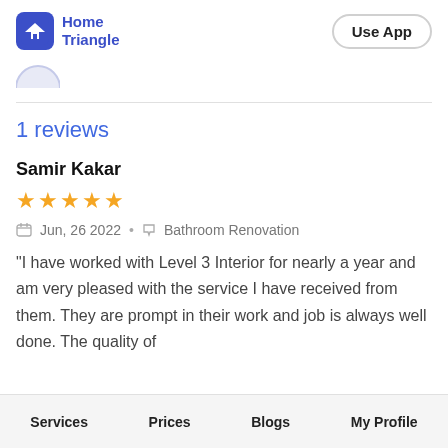Home Triangle | Use App
1 reviews
Samir Kakar
★★★★★
Jun, 26 2022 • Bathroom Renovation
"I have worked with Level 3 Interior for nearly a year and am very pleased with the service I have received from them. They are prompt in their work and job is always well done. The quality of
Services  Prices  Blogs  My Profile